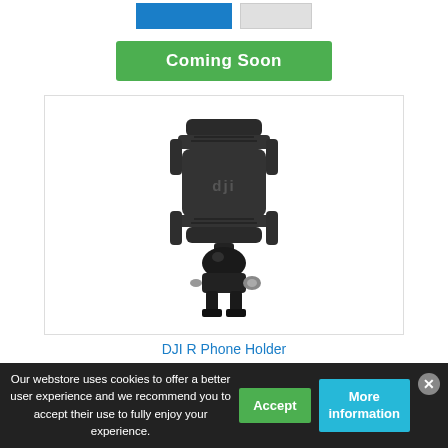[Figure (screenshot): Top navigation buttons: a blue filled button and a gray outlined button]
[Figure (screenshot): Green 'Coming Soon' button]
[Figure (photo): DJI R Phone Holder product image showing a black phone mount/holder accessory with DJI branding, consisting of a phone grip clamp on top and a ball-head mount connector at the bottom]
DJI R Phone Holder
Our webstore uses cookies to offer a better user experience and we recommend you to accept their use to fully enjoy your experience.